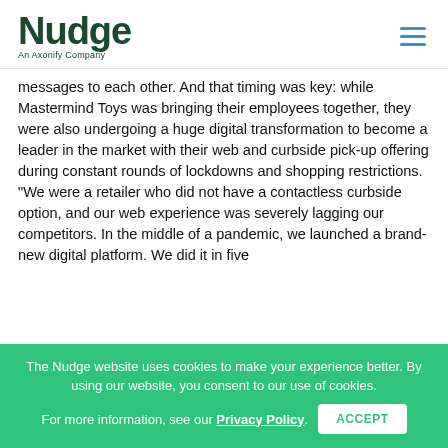Nudge — An Axonify Company
messages to each other. And that timing was key: while Mastermind Toys was bringing their employees together, they were also undergoing a huge digital transformation to become a leader in the market with their web and curbside pick-up offering during constant rounds of lockdowns and shopping restrictions.
“We were a retailer who did not have a contactless curbside option, and our web experience was severely lagging our competitors. In the middle of a pandemic, we launched a brand-new digital platform. We did it in five
The Nudge website uses cookies to make your experience better. By using our website, you consent to our use of cookies. For more information, see our Privacy Policy. ACCEPT